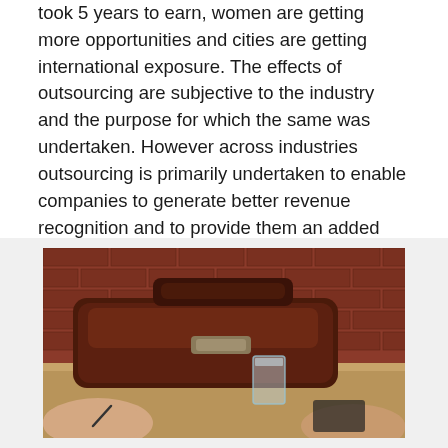took 5 years to earn, women are getting more opportunities and cities are getting international exposure. The effects of outsourcing are subjective to the industry and the purpose for which the same was undertaken. However across industries outsourcing is primarily undertaken to enable companies to generate better revenue recognition and to provide them an added competitive differentiator.
[Figure (photo): A brown leather briefcase/bag sitting on a wooden table or desk, with a glass of water and two people's hands visible on either side, against a brick wall background.]